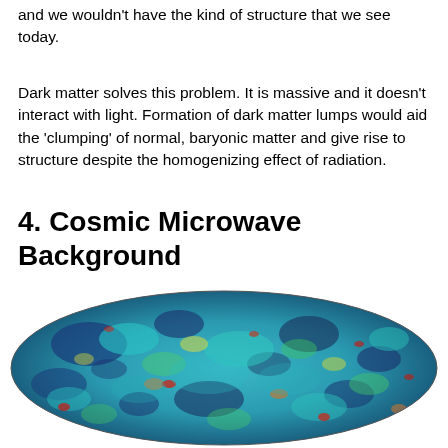and we wouldn't have the kind of structure that we see today.
Dark matter solves this problem. It is massive and it doesn't interact with light. Formation of dark matter lumps would aid the 'clumping' of normal, baryonic matter and give rise to structure despite the homogenizing effect of radiation.
4. Cosmic Microwave Background
[Figure (illustration): False-color oval/elliptical map of the Cosmic Microwave Background radiation showing temperature fluctuations across the full sky. Colors range from dark blue (cooler regions) through cyan, green, yellow to red and orange (warmer regions), displayed in a Mollweide projection.]